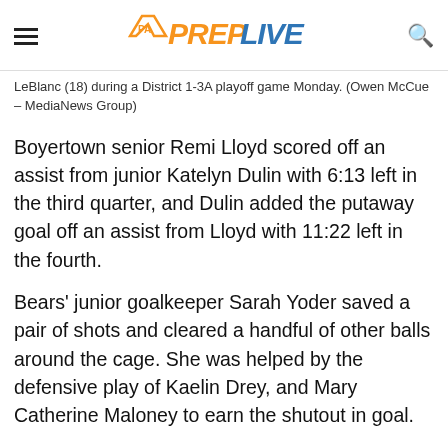PA PREPLIVE
LeBlanc (18) during a District 1-3A playoff game Monday. (Owen McCue – MediaNews Group)
Boyertown senior Remi Lloyd scored off an assist from junior Katelyn Dulin with 6:13 left in the third quarter, and Dulin added the putaway goal off an assist from Lloyd with 11:22 left in the fourth.
Bears' junior goalkeeper Sarah Yoder saved a pair of shots and cleared a handful of other balls around the cage. She was helped by the defensive play of Kaelin Drey, and Mary Catherine Maloney to earn the shutout in goal.
“I feel like at first we were a little bit nervous, but then once we got our act together we were perfect